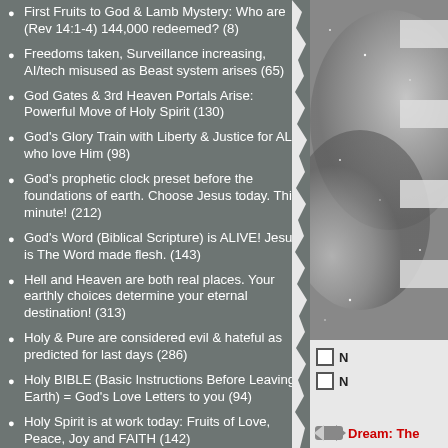First Fruits to God & Lamb Mystery: Who are (Rev 14:1-4) 144,000 redeemed? (8)
Freedoms taken, Surveillance increasing, AI/tech misused as Beast system arises (65)
God Gates & 3rd Heaven Portals Arise: Powerful Move of Holy Spirit (130)
God's Glory Train with Liberty & Justice for ALL who love Him (98)
God's prophetic clock preset before the foundations of earth. Choose Jesus today. This minute! (212)
God's Word (Biblical Scripture) is ALIVE! Jesus is The Word made flesh. (143)
Hell and Heaven are both real places. Your earthly choices determine your eternal destination! (313)
Holy & Pure are considered evil & hateful as predicted for last days (286)
Holy BIBLE (Basic Instructions Before Leaving Earth) = God's Love Letters to you (94)
Holy Spirit is at work today: Fruits of Love, Peace, Joy and FAITH (142)
HOPE in almighty GOD as your SHIELD from the enemy (1,031)
Israel is God's Timepiece: Keep Your Eyes on Those that Bless or Curse Her! (35)
[Figure (photo): Grayscale/silver nebula or space image on right column]
N
N
Dream: The